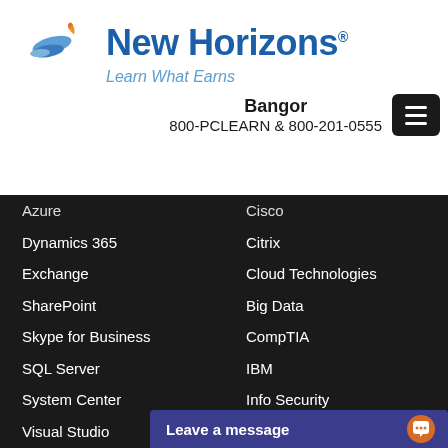[Figure (logo): New Horizons logo with stylized wing/arrow icon in blue and orange, text 'New Horizons' in blue, tagline 'Learn What Earns' in light blue italic]
Bangor
800-PCLEARN  & 800-201-0555
Azure
Dynamics 365
Exchange
SharePoint
Skype for Business
SQL Server
System Center
Visual Studio
Windows
Windows Server
Microsoft 365
Cisco
Citrix
Cloud Technologies
Big Data
CompTIA
IBM
Info Security
ITIL
Red Hat
Leave a message